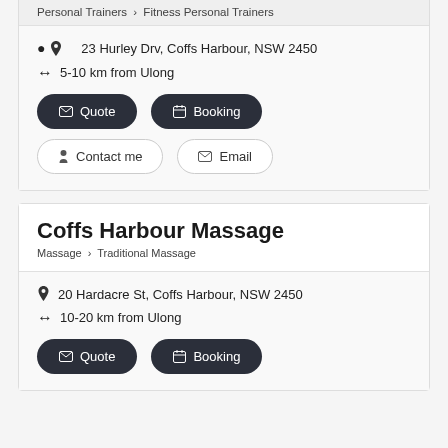Personal Trainers › Fitness Personal Trainers
23 Hurley Drv, Coffs Harbour, NSW 2450
5-10 km from Ulong
Quote
Booking
Contact me
Email
Coffs Harbour Massage
Massage › Traditional Massage
20 Hardacre St, Coffs Harbour, NSW 2450
10-20 km from Ulong
Quote
Booking